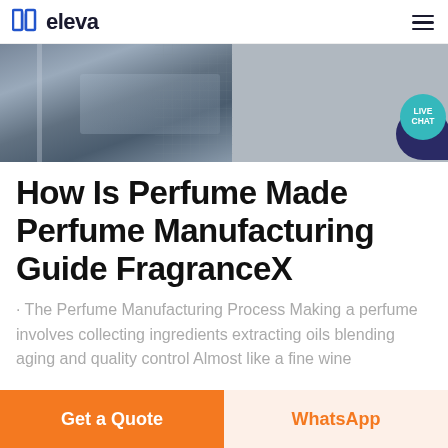eleva
[Figure (photo): Partial view of industrial or manufacturing scene showing grey fabric/textile being processed on machinery]
How Is Perfume Made Perfume Manufacturing Guide FragranceX
· The Perfume Manufacturing Process Making a perfume involves collecting ingredients extracting oils blending aging and quality control Almost like a fine wine